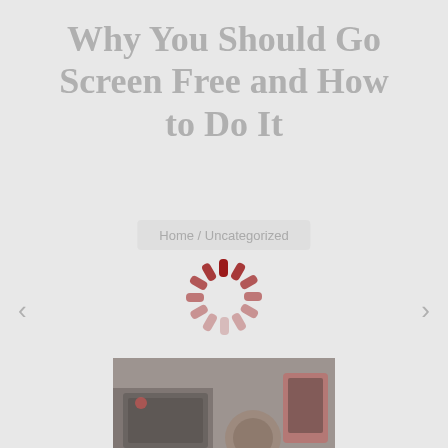Why You Should Go Screen Free and How to Do It
Home / Uncategorized
[Figure (other): Loading spinner icon with red dashes arranged in a circle on a light grey background]
[Figure (photo): Photo showing electronic devices including a laptop and other tech items on a dark surface, partially visible at bottom of page]